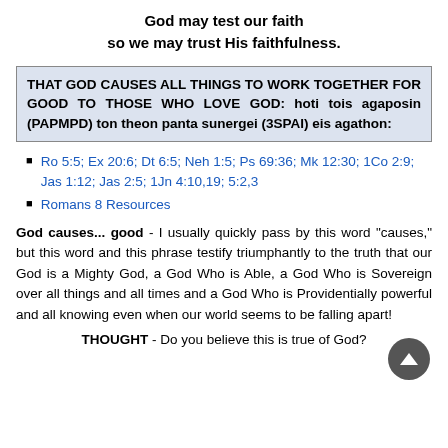God may test our faith so we may trust His faithfulness.
THAT GOD CAUSES ALL THINGS TO WORK TOGETHER FOR GOOD TO THOSE WHO LOVE GOD: hoti tois agaposin (PAPMPD) ton theon panta sunergei (3SPAI) eis agathon:
Ro 5:5; Ex 20:6; Dt 6:5; Neh 1:5; Ps 69:36; Mk 12:30; 1Co 2:9; Jas 1:12; Jas 2:5; 1Jn 4:10,19; 5:2,3
Romans 8 Resources
God causes... good - I usually quickly pass by this word "causes," but this word and this phrase testify triumphantly to the truth that our God is a Mighty God, a God Who is Able, a God Who is Sovereign over all things and all times and a God Who is Providentially powerful and all knowing even when our world seems to be falling apart!
THOUGHT - Do you believe this is true of God?